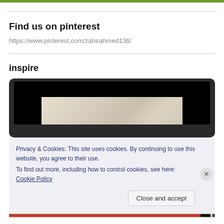Find us on pinterest
https://www.pinterest.com/zahirahmed136/
inspire
[Figure (screenshot): A device (tablet/monitor) showing a dark screen with a partial interior room image, overlaid by a cookie consent banner reading 'Privacy & Cookies: This site uses cookies. By continuing to use this website, you agree to their use. To find out more, including how to control cookies, see here: Cookie Policy' with a 'Close and accept' button.]